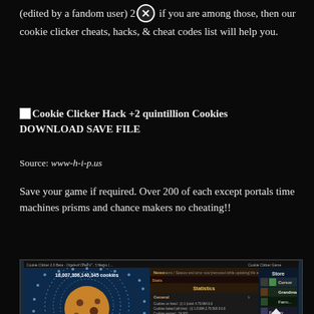(edited by a fandom user) 2 [X] if you are among those, then our cookie clicker cheats, hacks, & cheat codes list will help you.
Cookie Clicker Hack +2 quintillion Cookies DOWNLOAD SAVE FILE
Source: www-h-i-p.us
Save your game if required. Over 200 of each except portals time machines prisms and chance makers no cheating!!
[Figure (screenshot): Screenshot of Cookie Clicker game showing Statistics panel with General and Special sections, cookie count display, and Store panel on the right with items like Cursor, Grandma, Farm, Factory, Mine, Shipment, Alchemy. A large cookie image is visible on the left side.]